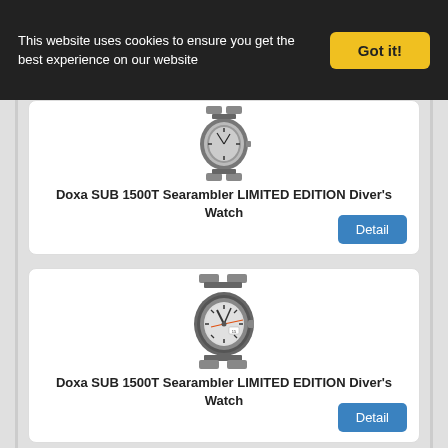This website uses cookies to ensure you get the best experience on our website
Got it!
[Figure (photo): Doxa SUB 1500T Searambler diver's watch with metal bracelet, viewed from slight angle]
Doxa SUB 1500T Searambler LIMITED EDITION Diver's Watch
Detail
[Figure (photo): Doxa SUB 1500T Searambler diver's watch with silver dial and orange seconds hand, metal bracelet]
Doxa SUB 1500T Searambler LIMITED EDITION Diver's Watch
Detail
[Figure (photo): Partial view of another Doxa diver's watch at bottom of page]